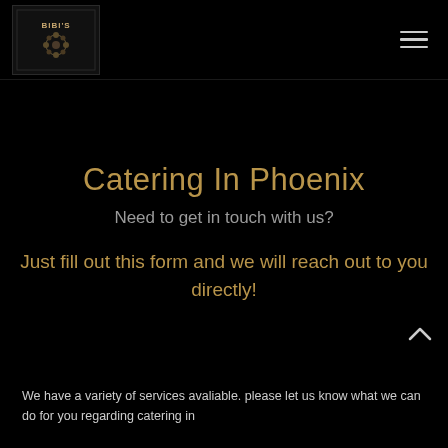[Figure (logo): Bibi's logo with text BIBI'S and decorative element on dark background]
Catering In Phoenix
Need to get in touch with us?
Just fill out this form and we will reach out to you directly!
We have a variety of services avaliable. please let us know what we can do for you regarding catering in